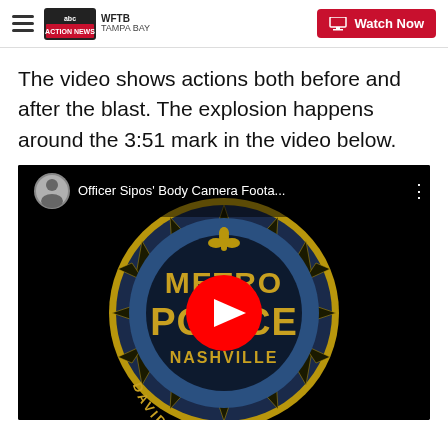WFTB Tampa Bay | Watch Now
The video shows actions both before and after the blast. The explosion happens around the 3:51 mark in the video below.
[Figure (screenshot): YouTube video thumbnail showing Nashville Metro Police Davidson County logo with a red YouTube play button overlay. Video title: Officer Sipos' Body Camera Foota...]